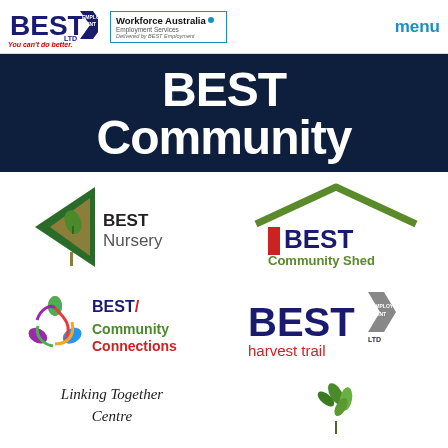[Figure (logo): BEST Employment logo with tagline 'You can't do better.']
[Figure (logo): Workforce Australia Employment Services - Delivered by BEST Employment logo]
menu
BEST Community
[Figure (logo): BEST Nursery logo with green triangle/arrow icon]
[Figure (logo): BEST Community Shed logo with house outline]
[Figure (logo): BEST Community Connections logo with colorful people swirl]
[Figure (logo): BEST harvest trail logo]
[Figure (logo): Linking Together Centre logo (partially visible)]
[Figure (logo): Plant/leaves logo (partially visible)]